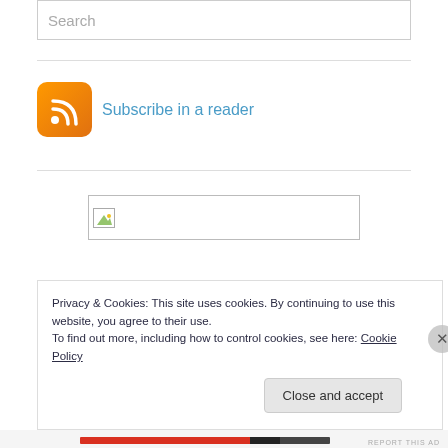Search
[Figure (illustration): RSS feed icon - orange rounded square with white RSS signal waves]
Subscribe in a reader
[Figure (other): Broken image placeholder - small icon with colored triangle in a bordered box]
Privacy & Cookies: This site uses cookies. By continuing to use this website, you agree to their use.
To find out more, including how to control cookies, see here: Cookie Policy
Close and accept